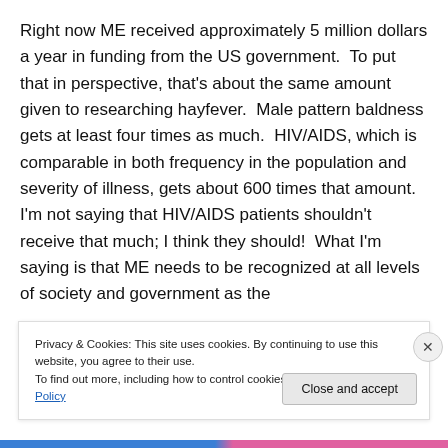Right now ME received approximately 5 million dollars a year in funding from the US government.  To put that in perspective, that's about the same amount given to researching hayfever.  Male pattern baldness gets at least four times as much.  HIV/AIDS, which is comparable in both frequency in the population and severity of illness, gets about 600 times that amount.  I'm not saying that HIV/AIDS patients shouldn't receive that much; I think they should!  What I'm saying is that ME needs to be recognized at all levels of society and government as the
Privacy & Cookies: This site uses cookies. By continuing to use this website, you agree to their use.
To find out more, including how to control cookies, see here: Cookie Policy